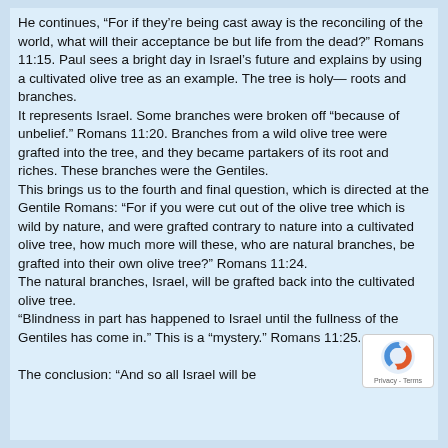He continues, “For if they’re being cast away is the reconciling of the world, what will their acceptance be but life from the dead?” Romans 11:15. Paul sees a bright day in Israel’s future and explains by using a cultivated olive tree as an example. The tree is holy— roots and branches.
It represents Israel. Some branches were broken off “because of unbelief.” Romans 11:20. Branches from a wild olive tree were grafted into the tree, and they became partakers of its root and riches. These branches were the Gentiles.
This brings us to the fourth and final question, which is directed at the Gentile Romans: “For if you were cut out of the olive tree which is wild by nature, and were grafted contrary to nature into a cultivated olive tree, how much more will these, who are natural branches, be grafted into their own olive tree?” Romans 11:24.
The natural branches, Israel, will be grafted back into the cultivated olive tree.
“Blindness in part has happened to Israel until the fullness of the Gentiles has come in.” This is a “mystery.” Romans 11:25.

The conclusion: “And so all Israel will be